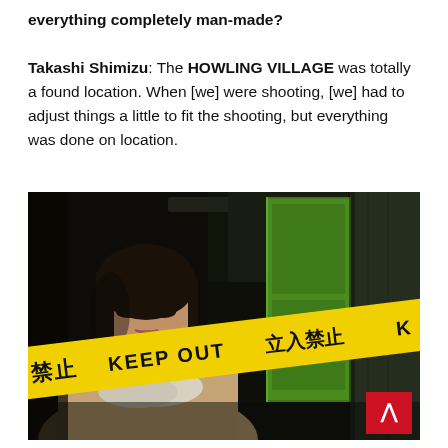everything completely man-made?
Takashi Shimizu: The HOWLING VILLAGE was totally a found location. When [we] were shooting, [we] had to adjust things a little to fit the shooting, but everything was done on location.
[Figure (photo): A young Asian woman with dark shoulder-length hair wearing a beige coat and white scarf stands behind a yellow KEEP OUT / 立入禁止 (no entry) tape. She is in a dark, eerie location with a green door/panel and dark walls behind her. The tape runs diagonally across the image. A red back-to-top arrow button is visible in the lower right corner.]